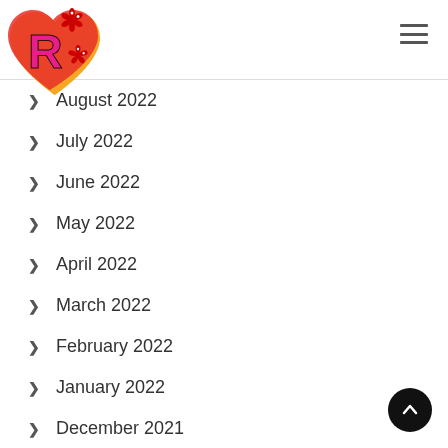[Figure (logo): Heart-shaped logo with orange/red heart, pink R letter inside, red flower decorations]
August 2022
July 2022
June 2022
May 2022
April 2022
March 2022
February 2022
January 2022
December 2021
November 2021
October 2021